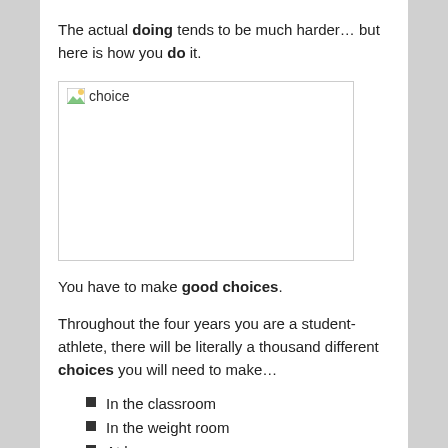The actual doing tends to be much harder… but here is how you do it.
[Figure (illustration): A broken/missing image placeholder labeled 'choice']
You have to make good choices.
Throughout the four years you are a student-athlete, there will be literally a thousand different choices you will need to make…
In the classroom
In the weight room
At home
During practice
In the halls at school